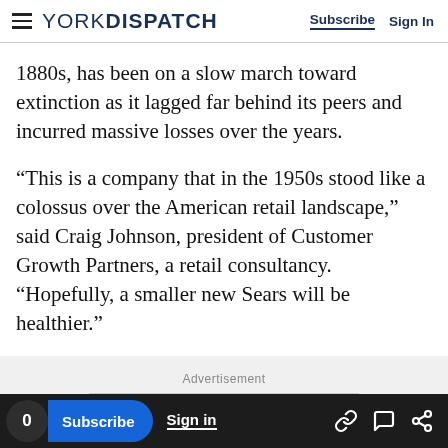YORK DISPATCH — Subscribe | Sign In
1880s, has been on a slow march toward extinction as it lagged far behind its peers and incurred massive losses over the years.
“This is a company that in the 1950s stood like a colossus over the American retail landscape,” said Craig Johnson, president of Customer Growth Partners, a retail consultancy. “Hopefully, a smaller new Sears will be healthier.”
Advertisement
0 | Subscribe | Sign in | [link] [comment] [share]